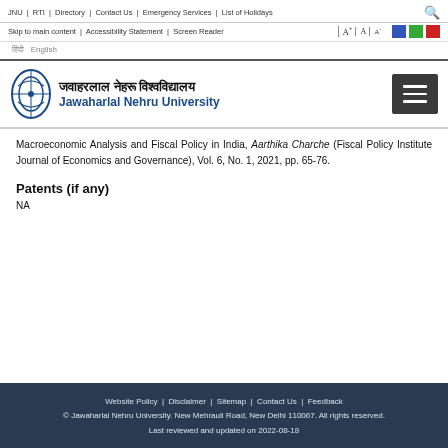JNU | RTI | Directory | Contact Us | Emergency Services | List of Holidays
Skip to main content | Accessibility Statement | Screen Reader | A+ A A-
जवाहरलाल नेहरू विश्वविद्यालय Jawaharlal Nehru University
Macroeconomic Analysis and Fiscal Policy in India, Aarthika Charche (Fiscal Policy Institute Journal of Economics and Governance), Vol. 6, No. 1, 2021, pp. 65-76.
Patents (if any)
NA
Website Policy | Disclaimer | Sitemap | Contact Us | Feedback
© Jawaharlal Nehru University. New Mehrauli Road, New Delhi 110067. All rights reserved.
Last reviewed and updated on 2022-08-18